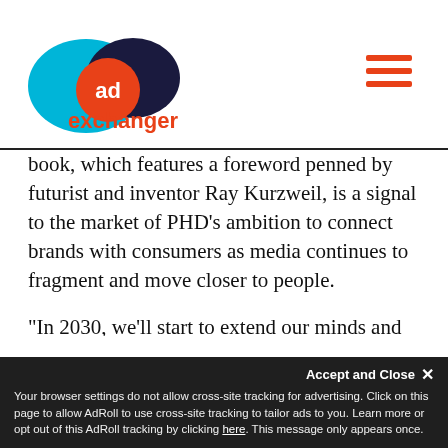AdExchanger logo and navigation
book, which features a foreword penned by futurist and inventor Ray Kurzweil, is a signal to the market of PHD’s ambition to connect brands with consumers as media continues to fragment and move closer to people.
“In 2030, we’ll start to extend our minds and neocortex [and] we will merge with artificial intelligence,” Kurzweil said at a panel hosted by PHD in Cannes. “Look at the technical priorities affecting your business and see where they’re going to go in the course of your project. The actual
Your browser settings do not allow cross-site tracking for advertising. Click on this page to allow AdRoll to use cross-site tracking to tailor ads to you. Learn more or opt out of this AdRoll tracking by clicking here. This message only appears once.